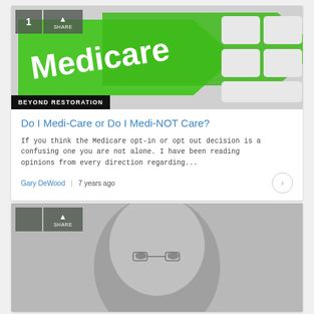[Figure (photo): Green Medicare arrow signs on keyboard keys with 'Medicare' text, social media share badge showing '1' and 'SHARE']
BEYOND RESTORATION
Do I Medi-Care or Do I Medi-NOT Care?
If you think the Medicare opt-in or opt out decision is a confusing one you are not alone. I have been reading opinions from every direction regarding...
Gary DeWood  |  7 years ago
[Figure (photo): Black and white close-up portrait photo of an older bald man with glasses, with a social media share badge showing 'SHARE']